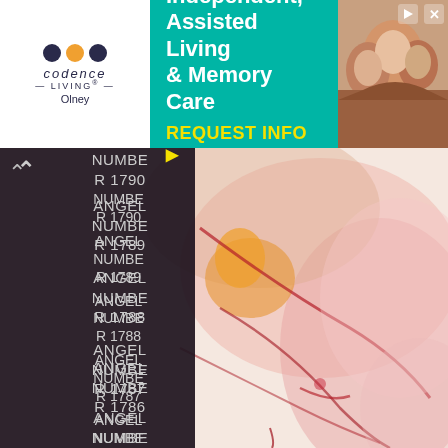[Figure (screenshot): Advertisement banner for Codence Living Olney: Independent, Assisted Living & Memory Care with REQUEST INFO button and photo of elderly people]
ANGEL NUMBER 1790
ANGEL NUMBER 1789
ANGEL NUMBER 1788
ANGEL NUMBER 1787
ANGEL NUMBER 1786
ANGEL NUMBER 1785
ANGEL NUMBER 1784
[Figure (illustration): Abstract watercolor painting with pink, red, orange and beige fluid shapes and flowing lines on white/cream background]